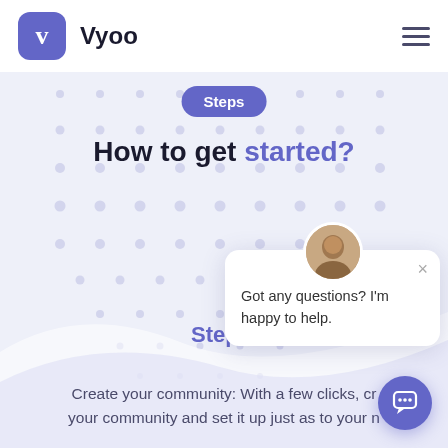Vyoo
Steps
How to get started?
[Figure (screenshot): Chat widget popup with avatar photo of a man, close button (×), and text 'Got any questions? I'm happy to help.']
Got any questions? I'm happy to help.
Step 1
Create your community: With a few clicks, cr your community and set it up just as to your n